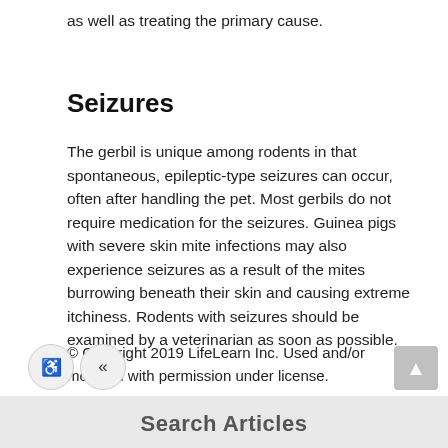as well as treating the primary cause.
Seizures
The gerbil is unique among rodents in that spontaneous, epileptic-type seizures can occur, often after handling the pet. Most gerbils do not require medication for the seizures. Guinea pigs with severe skin mite infections may also experience seizures as a result of the mites burrowing beneath their skin and causing extreme itchiness. Rodents with seizures should be examined by a veterinarian as soon as possible.
© Copyright 2019 LifeLearn Inc. Used and/or modified with permission under license.
Search Articles